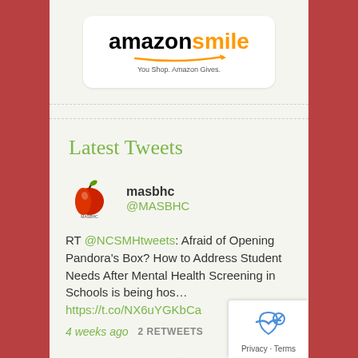[Figure (logo): Amazon Smile logo with tagline 'You Shop. Amazon Gives.' in a white rounded box]
Latest Tweets
[Figure (logo): MASBHC apple logo avatar for Twitter user masbhc @MASBHC]
masbhc @MASBHC
RT @NCSMHtweets: Afraid of Opening Pandora's Box? How to Address Student Needs After Mental Health Screening in Schools is being hos… https://t.co/NX6uYGKbCa
4 weeks ago  2 RETWEETS